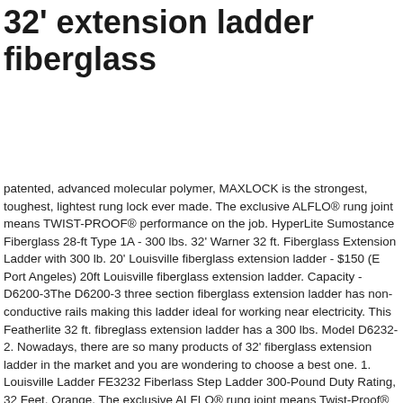32' extension ladder fiberglass
patented, advanced molecular polymer, MAXLOCK is the strongest, toughest, lightest rung lock ever made. The exclusive ALFLO® rung joint means TWIST-PROOF® performance on the job. HyperLite Sumostance Fiberglass 28-ft Type 1A - 300 lbs. 32' Warner 32 ft. Fiberglass Extension Ladder with 300 lb. 20' Louisville fiberglass extension ladder - $150 (E Port Angeles) 20ft Louisville fiberglass extension ladder. Capacity - D6200-3The D6200-3 three section fiberglass extension ladder has non-conductive rails making this ladder ideal for working near electricity. This Featherlite 32 ft. fibreglass extension ladder has a 300 lbs. Model D6232-2. Nowadays, there are so many products of 32' fiberglass extension ladder in the market and you are wondering to choose a best one. 1. Louisville Ladder FE3232 Fiberlass Step Ladder 300-Pound Duty Rating, 32 Feet, Orange. The exclusive ALFLO® rung joint means Twist-Proof® performance on the job. Extends to 32 ft. for reaching gutters, second story windows, electrical outlets and roof, Nonslip tred D traction for safety and comfortable standing, Weather-resistant material will not rust or fade,